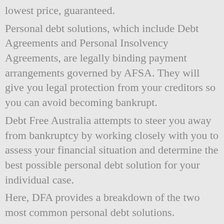lowest price, guaranteed.
Personal debt solutions, which include Debt Agreements and Personal Insolvency Agreements, are legally binding payment arrangements governed by AFSA. They will give you legal protection from your creditors so you can avoid becoming bankrupt.
Debt Free Australia attempts to steer you away from bankruptcy by working closely with you to assess your financial situation and determine the best possible personal debt solution for your individual case.
Here, DFA provides a breakdown of the two most common personal debt solutions.
Debt Agreements and Personal Insolvency Agreements
Both these personal debt solutions are quite similar and differ depending on how much you earn and how much